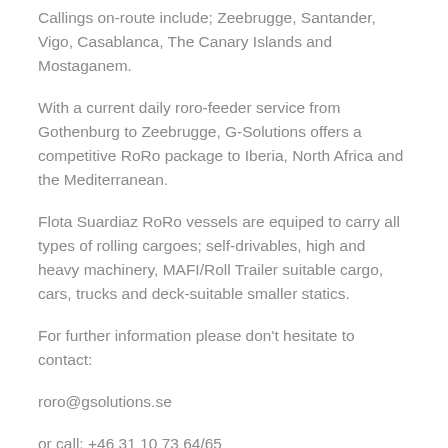Callings on-route include; Zeebrugge, Santander, Vigo, Casablanca, The Canary Islands and Mostaganem.
With a current daily roro-feeder service from Gothenburg to Zeebrugge, G-Solutions offers a competitive RoRo package to Iberia, North Africa and the Mediterranean.
Flota Suardiaz RoRo vessels are equiped to carry all types of rolling cargoes; self-drivables, high and heavy machinery, MAFI/Roll Trailer suitable cargo, cars, trucks and deck-suitable smaller statics.
For further information please don’t hesitate to contact:
roro@gsolutions.se
or call: +46 31 10 73 64/65